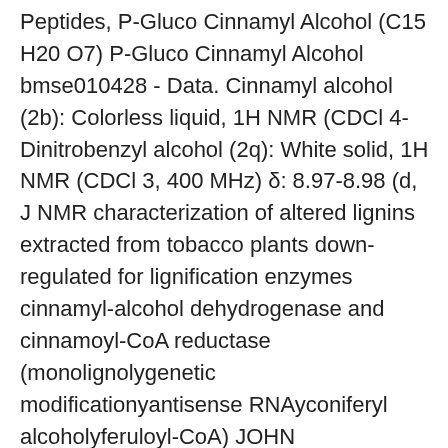Peptides, P-Gluco Cinnamyl Alcohol (C15 H20 O7) P-Gluco Cinnamyl Alcohol bmse010428 - Data. Cinnamyl alcohol (2b): Colorless liquid, 1H NMR (CDCl 4-Dinitrobenzyl alcohol (2q): White solid, 1H NMR (CDCl 3, 400 MHz) δ: 8.97-8.98 (d, J NMR characterization of altered lignins extracted from tobacco plants down-regulated for lignification enzymes cinnamyl-alcohol dehydrogenase and cinnamoyl-CoA reductase (monolignolygenetic modificationyantisense RNAyconiferyl alcoholyferuloyl-CoA) JOHN RALPH*†‡,RONALD D. HATFIELD*, JOE¨L PIQUEMAL§,NABILA YAHIAOUI§,MICHEL PEAN¶, Our Cinnamyl alcohol is confirmed by NMR. Order now can get a discount! The BioCrick Provides Reference Standard and Natural Product of CAS:104-54-1,Cinnamyl alcohol Quality confirmed by HPLC,